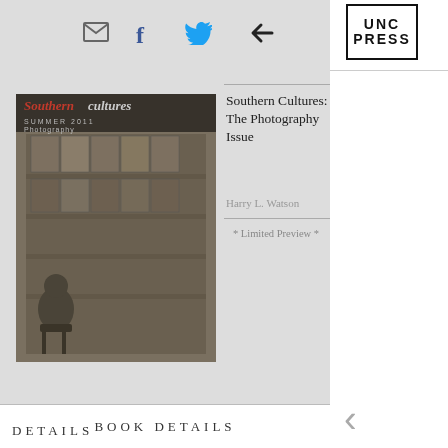[Figure (logo): UNC Press logo in top-right corner, bold text UNC PRESS in a rectangular border]
[Figure (photo): Book cover for Southern Cultures: The Photography Issue, black and white photograph of person sitting surrounded by stacked boxes]
Southern Cultures: The Photography Issue
Harry L. Watson
* Limited Preview *
BOOK DETAILS
DETAILS